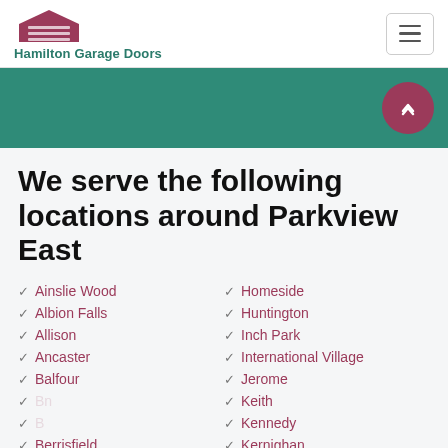Hamilton Garage Doors
We serve the following locations around Parkview East
Ainslie Wood
Albion Falls
Allison
Ancaster
Balfour
Berrisfield
Binbrook
Homeside
Huntington
Inch Park
International Village
Jerome
Keith
Kennedy
Kernighan
King's Forest Upper
Kirkendall North